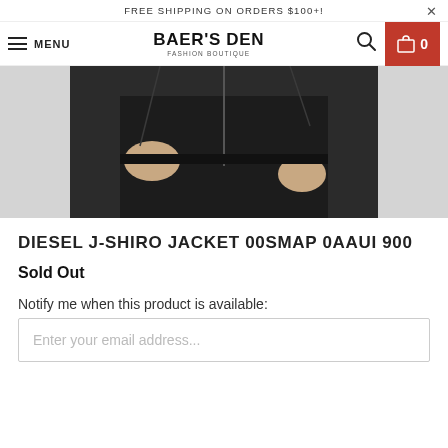FREE SHIPPING ON ORDERS $100+!
MENU  BAER'S DEN FASHION BOUTIQUE
[Figure (photo): Close-up photo of a person wearing a Diesel J-Shiro black leather jacket and dark jeans, hands visible at sides.]
DIESEL J-SHIRO JACKET 00SMAP 0AAUI 900
Sold Out
Notify me when this product is available:
Enter your email address...